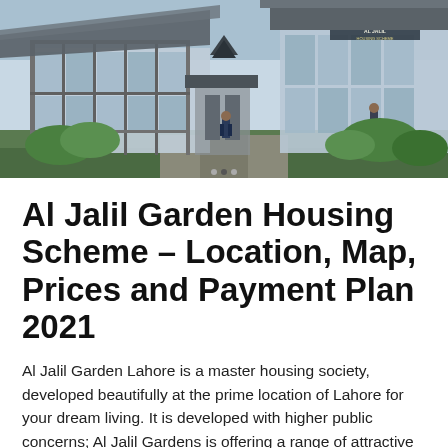[Figure (photo): Exterior photograph of Al Jalil Garden housing scheme entrance gate and building with glass facade, guards standing outside, green shrubs and blue sky background.]
Al Jalil Garden Housing Scheme – Location, Map, Prices and Payment Plan 2021
Al Jalil Garden Lahore is a master housing society, developed beautifully at the prime location of Lahore for your dream living. It is developed with higher public concerns; Al Jalil Gardens is offering a range of attractive properties from which you'll be able to choose easily. Both the residential and commercial